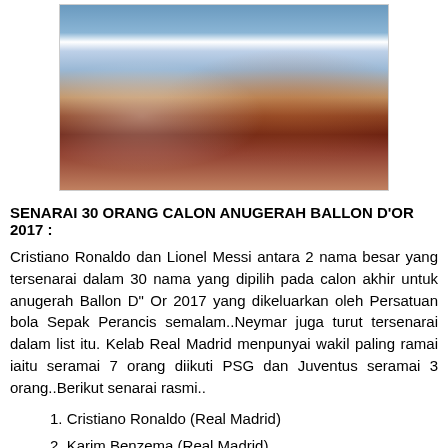[Figure (photo): Photo of Real Madrid and FC Barcelona players facing each other, promotional image for Ballon D'Or 2017]
SENARAI 30 ORANG CALON ANUGERAH BALLON D'OR 2017 :
Cristiano Ronaldo dan Lionel Messi antara 2 nama besar yang tersenarai dalam 30 nama yang dipilih pada calon akhir untuk anugerah Ballon D" Or 2017 yang dikeluarkan oleh Persatuan bola Sepak Perancis semalam..Neymar juga turut tersenarai dalam list itu. Kelab Real Madrid menpunyai wakil paling ramai iaitu seramai 7 orang diikuti PSG dan Juventus seramai 3 orang..Berikut senarai rasmi..
1. Cristiano Ronaldo (Real Madrid)
2. Karim Benzema (Real Madrid)
3. Luka Modric (Real Madrid)
4. Isco (Real Madrid)
5. Marcelo (Real Madrid)